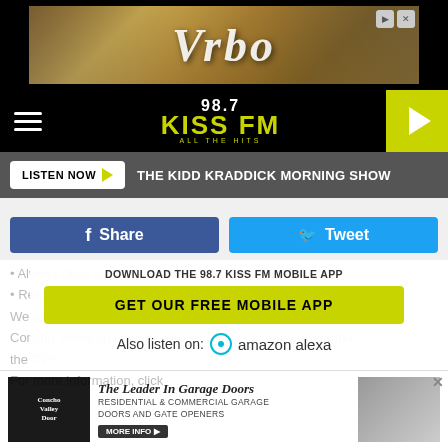[Figure (photo): Vrbo vacation rental advertisement banner with house/building imagery]
[Figure (logo): 98.7 KISS FM All The Hits radio station logo with play button]
LISTEN NOW ▶   THE KIDD KRADDICK MORNING SHOW
Share   Tweet
• Always obey speed limits and traffic laws in school zones.
DOWNLOAD THE 98.7 KISS FM MOBILE APP
• Remember, texting while driving is illegal in Texas.
GET OUR FREE MOBILE APP
We all want to insure the safety of our students in the Concho Valley so take the above driving tips and advice that the DPS
Also listen on: amazon alexa
For more information, click
[Figure (photo): Concho Valley Door - The Leader In Garage Doors advertisement banner]